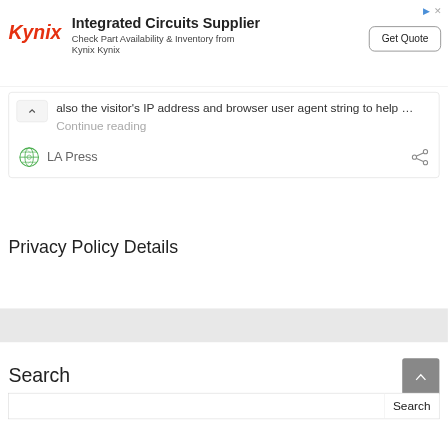[Figure (other): Advertisement banner for Kynix Integrated Circuits Supplier with logo, text, and Get Quote button]
also the visitor's IP address and browser user agent string to help … Continue reading
LA Press
Privacy Policy Details
Search
Search